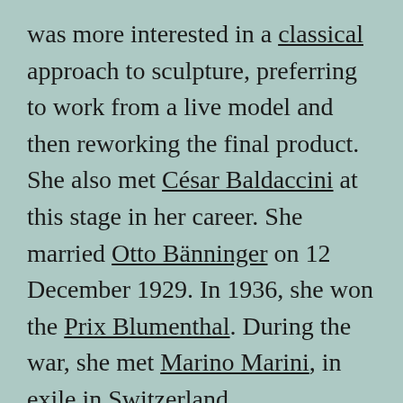was more interested in a classical approach to sculpture, preferring to work from a live model and then reworking the final product. She also met César Baldaccini at this stage in her career. She married Otto Bänninger on 12 December 1929. In 1936, she won the Prix Blumenthal. During the war, she met Marino Marini, in exile in Switzerland.

Richier's early work was fantastic, combining classical forms with human-animal hybrids and depicting creatures such as the spider and thehydra. Her style became less figurative after World War II; the bodily deformations